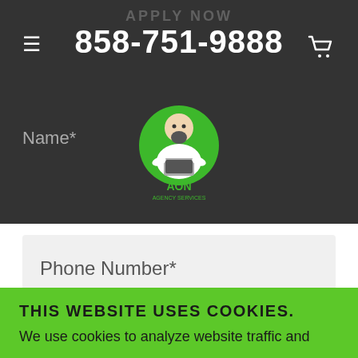APPLY NOW
858-751-9888
[Figure (logo): AON Cleaning Services logo: figure in white shirt with green background holding a cleaning tool, text AON below]
Name*
Phone Number*
Email*
Current Availabilty*
THIS WEBSITE USES COOKIES. We use cookies to analyze website traffic and